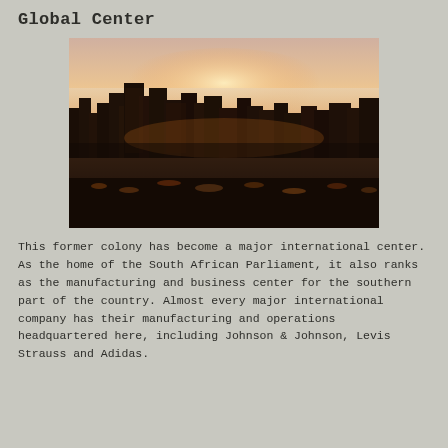Global Center
[Figure (photo): Aerial panoramic cityscape photograph at dusk/sunset showing a dense urban skyline with skyscrapers in the foreground and a glowing orange-pink horizon in the background. City lights illuminate the streets and buildings below.]
This former colony has become a major international center. As the home of the South African Parliament, it also ranks as the manufacturing and business center for the southern part of the country. Almost every major international company has their manufacturing and operations headquartered here, including Johnson & Johnson, Levis Strauss and Adidas.